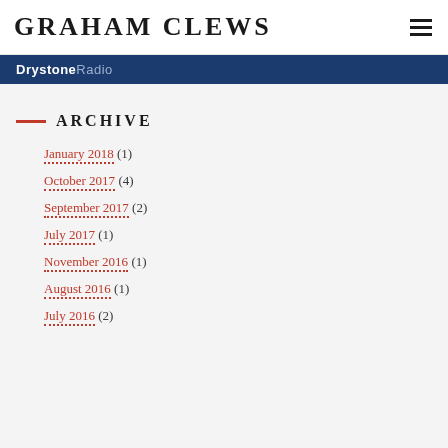GRAHAM CLEWS
[Figure (logo): DrystoneRadio logo on dark navy blue banner]
ARCHIVE
January 2018 (1)
October 2017 (4)
September 2017 (2)
July 2017 (1)
November 2016 (1)
August 2016 (1)
July 2016 (2)